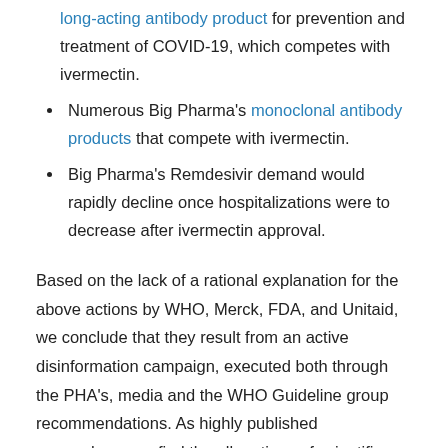long-acting antibody product for prevention and treatment of COVID-19, which competes with ivermectin.
Numerous Big Pharma's monoclonal antibody products that compete with ivermectin.
Big Pharma's Remdesivir demand would rapidly decline once hospitalizations were to decrease after ivermectin approval.
Based on the lack of a rational explanation for the above actions by WHO, Merck, FDA, and Unitaid, we conclude that they result from an active disinformation campaign, executed both through the PHA's, media and the WHO Guideline group recommendations. As highly published researchers, we find the allegations of scientific misconduct in the writing of the WHO/United research team's meta-analysis manuscript to be deeply disturbing. It clearly represents a disinformation tactic with an intent to distort and diminish the reporting of a large magnitude benefit on mortality among many hundreds of patients. Further, Merck's demonstrably